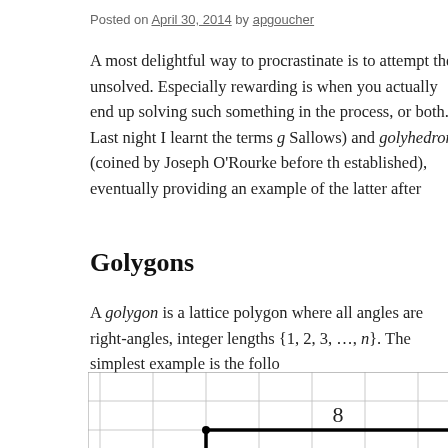Posted on April 30, 2014 by apgoucher
A most delightful way to procrastinate is to attempt the unsolved. Especially rewarding is when you actually end up solving such something in the process, or both. Last night I learnt the terms g (coined by Sallows) and golyhedron (coined by Joseph O'Rourke before th established), eventually providing an example of the latter after
Golygons
A golygon is a lattice polygon where all angles are right-angles, integer lengths {1, 2, 3, …, n}. The simplest example is the follo
[Figure (other): Grid diagram showing a lattice polygon (golygon) example with grid lines and a bold path. The number 8 is labeled in one of the cells.]